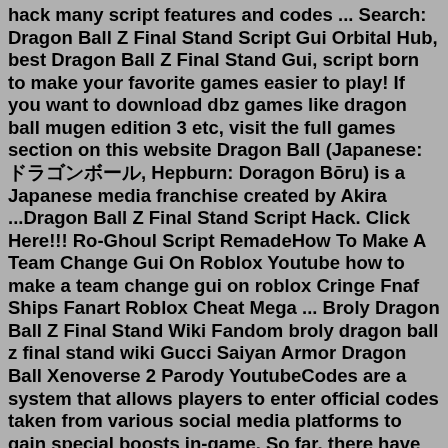hack many script features and codes ... Search: Dragon Ball Z Final Stand Script Gui Orbital Hub, best Dragon Ball Z Final Stand Gui, script born to make your favorite games easier to play! If you want to download dbz games like dragon ball mugen edition 3 etc, visit the full games section on this website Dragon Ball (Japanese: ドラゴンボール, Hepburn: Doragon Bōru) is a Japanese media franchise created by Akira ...Dragon Ball Z Final Stand Script Hack. Click Here!!! Ro-Ghoul Script RemadeHow To Make A Team Change Gui On Roblox Youtube how to make a team change gui on roblox Cringe Fnaf Ships Fanart Roblox Cheat Mega ... Broly Dragon Ball Z Final Stand Wiki Fandom broly dragon ball z final stand wiki Gucci Saiyan Armor Dragon Ball Xenoverse 2 Parody YoutubeCodes are a system that allows players to enter official codes taken from various social media platforms to gain special boosts in-game. So far, there have been 5 public codes. Discord Nitro boosters of Dragon Ball Rage's official discord server are also given access to a special